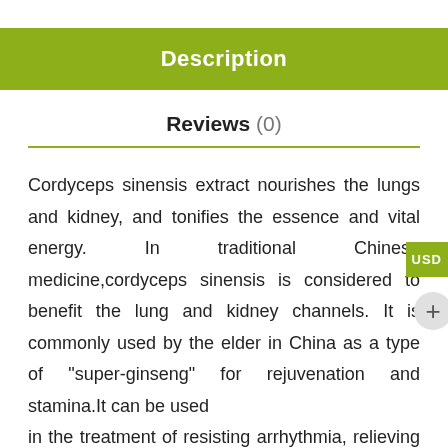Description
Reviews (0)
Cordyceps sinensis extract nourishes the lungs and kidney, and tonifies the essence and vital energy. In traditional Chinese medicine,cordyceps sinensis is considered to benefit the lung and kidney channels. It is commonly used by the elder in China as a type of “super-ginseng” for rejuvenation and stamina.It can be used
in the treatment of resisting arrhythmia, relieving inflammation and nourishing the kidney. Used for atria